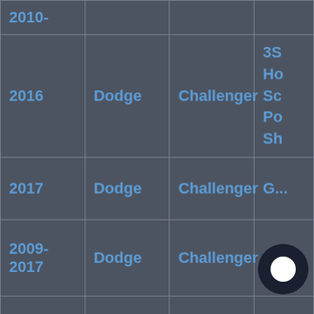| Year | Make | Model | Trim |
| --- | --- | --- | --- |
| 2010- |  |  |  |
| 2016 | Dodge | Challenger | 3S
Ho
Sc
Po
Sh |
| 2017 | Dodge | Challenger | G... |
| 2009-2017 | Dodge | Challenger | R... |
| 2017-2019 | Dodge | Challenger | R/...
3S |
| 2012 | Dodge | Challenger | S/...
U... |
| 2015- | Dodge | Challenger | R... |